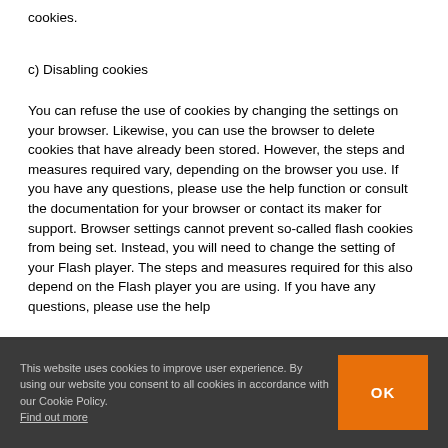cookies.
c) Disabling cookies
You can refuse the use of cookies by changing the settings on your browser. Likewise, you can use the browser to delete cookies that have already been stored. However, the steps and measures required vary, depending on the browser you use. If you have any questions, please use the help function or consult the documentation for your browser or contact its maker for support. Browser settings cannot prevent so-called flash cookies from being set. Instead, you will need to change the setting of your Flash player. The steps and measures required for this also depend on the Flash player you are using. If you have any questions, please use the help
This website uses cookies to improve user experience. By using our website you consent to all cookies in accordance with our Cookie Policy. Find out more